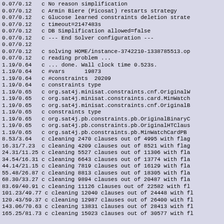0.07/0.12   c No reason simplification
0.07/0.12   c Armin Biere (Picosat) restarts strategy
0.07/0.12   c Glucose learned constraints deletion strate
0.07/0.12   c timeout=2147483s
0.07/0.12   c DB Simplification allowed=false
0.07/0.12   c --- End Solver configuration ---
0.07/0.12
0.07/0.12   c solving HOME/instance-3742210-1338785513.op
0.07/0.12   c reading problem ...
1.19/0.64   c ... done. Wall clock time 0.523s.
1.19/0.64   c #vars      19873
1.19/0.64   c #constraints  20209
1.19/0.64   c constraints type
1.19/0.65   c org.sat4j.minisat.constraints.cnf.OriginalW
1.19/0.65   c org.sat4j.minisat.constraints.card.MinWatch
1.19/0.65   c org.sat4j.minisat.constraints.cnf.OriginalB
1.19/0.65   c constraints type
1.19/0.65   c org.sat4j.pb.constraints.pb.OriginalBinaryC
1.19/0.65   c org.sat4j.pb.constraints.pb.OriginalHTClaus
1.19/0.65   c org.sat4j.pb.constraints.pb.MinWatchCardPB
8.53/3.64   c cleaning 2470 clauses out of 4995 with flag
16.31/7.23  c cleaning 4209 clauses out of 8521 with flag
24.31/11.25 c cleaning 5527 clauses out of 11306 with fla
34.54/16.31 c cleaning 6643 clauses out of 13774 with fla
44.14/21.15 c cleaning 7819 clauses out of 16129 with fla
55.48/26.87 c cleaning 8813 clauses out of 18305 with fla
68.30/33.27 c cleaning 9894 clauses out of 20487 with fla
83.69/40.91 c cleaning 11126 clauses out of 22582 with fl
101.23/49.77 c cleaning 12040 clauses out of 24448 with fl
120.43/59.37 c cleaning 12987 clauses out of 26400 with fl
143.06/70.63 c cleaning 13831 clauses out of 28413 with fl
165.25/81.73 c cleaning 15023 clauses out of 30577 with fl